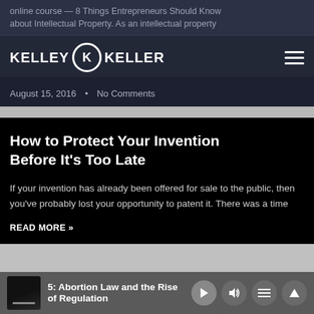online course — 8 Things Entrepreneurs Should Know about Intellectual Property. As an intellectual property
KELLEY K KELLER
August 15, 2016  •  No Comments
How to Protect Your Invention Before It's Too Late
If your invention has already been offered for sale to the public, then you've probably lost your opportunity to patent it. There was a time
READ MORE »
November 28, 2015  •  No Comments
5: Abortion Law and the Rise of Regulation